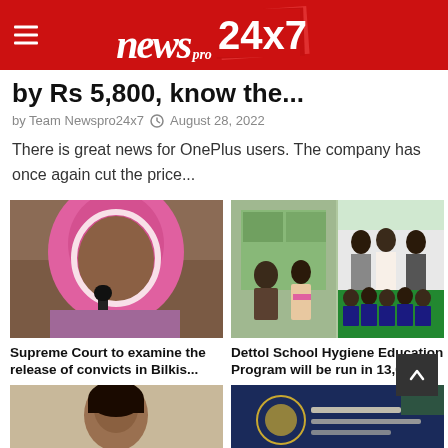news pro 24x7
by Rs 5,800, know the...
by Team Newspro24x7  August 28, 2022
There is great news for OnePlus users. The company has once again cut the price...
[Figure (photo): Woman in pink hijab speaking into a microphone]
Supreme Court to examine the release of convicts in Bilkis...
[Figure (photo): Group of people at a school hygiene education event with children]
Dettol School Hygiene Education Program will be run in 13,000...
[Figure (photo): Person portrait photo (bottom left)]
[Figure (photo): Government emblem or building signage (bottom right)]